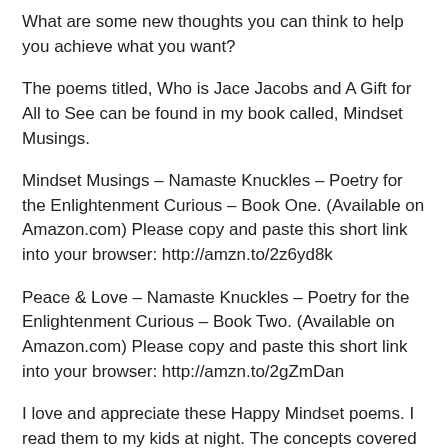What are some new thoughts you can think to help you achieve what you want?
The poems titled, Who is Jace Jacobs and A Gift for All to See can be found in my book called, Mindset Musings.
Mindset Musings – Namaste Knuckles – Poetry for the Enlightenment Curious – Book One. (Available on Amazon.com) Please copy and paste this short link into your browser: http://amzn.to/2z6yd8k
Peace & Love – Namaste Knuckles – Poetry for the Enlightenment Curious – Book Two. (Available on Amazon.com) Please copy and paste this short link into your browser: http://amzn.to/2gZmDan
I love and appreciate these Happy Mindset poems. I read them to my kids at night. The concepts covered in this poetry such as self-love, appreciation, mindfulness, and